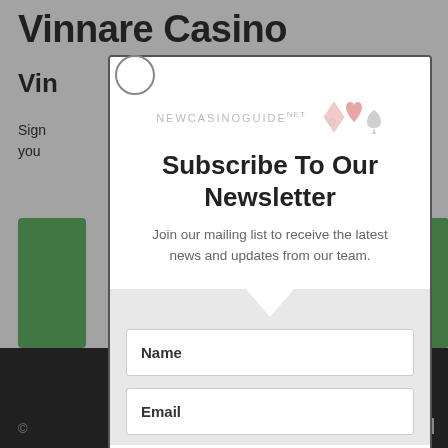Vinnare Casino
Vin
Sign your
T&C
[Figure (screenshot): Newsletter subscription modal popup over Vinnare Casino website background. Modal contains NEWCASINOGUIDE.NET logo with card suits icon, title 'Subscribe To Our Newsletter', subtitle text, and form fields for Name and Email.]
Subscribe To Our Newsletter
Join our mailing list to receive the latest news and updates from our team.
Name
Email